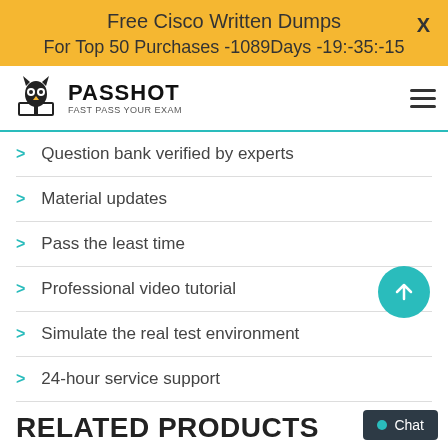Free Cisco Written Dumps
For Top 50 Purchases -1089Days -19:-35:-15
[Figure (logo): PASSHOT logo with owl/book icon and tagline FAST PASS YOUR EXAM]
Question bank verified by experts
Material updates
Pass the least time
Professional video tutorial
Simulate the real test environment
24-hour service support
RELATED PRODUCTS